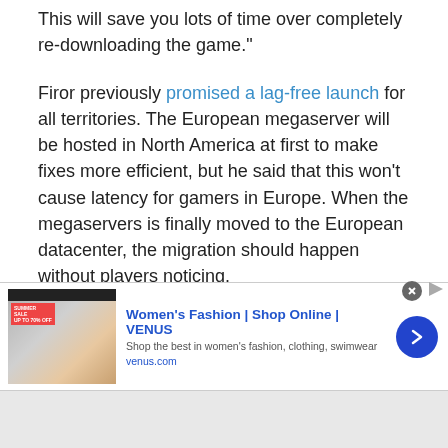This will save you lots of time over completely re-downloading the game."
Firor previously promised a lag-free launch for all territories. The European megaserver will be hosted in North America at first to make fixes more efficient, but he said that this won't cause latency for gamers in Europe. When the megaservers is finally moved to the European datacenter, the migration should happen without players noticing.
If there's a queue for the official servers, players will have the option of joining overflow servers. The overflow servers don't have social features but allow you to start playing right away. Your progress will
[Figure (screenshot): Advertisement banner for Women's Fashion | Shop Online | VENUS. Shows a thumbnail image of a summer sale fashion page, ad title in blue bold text, subtitle 'Shop the best in women's fashion, clothing, swimwear', URL 'venus.com', a blue circular arrow button, and a close (x) button.]